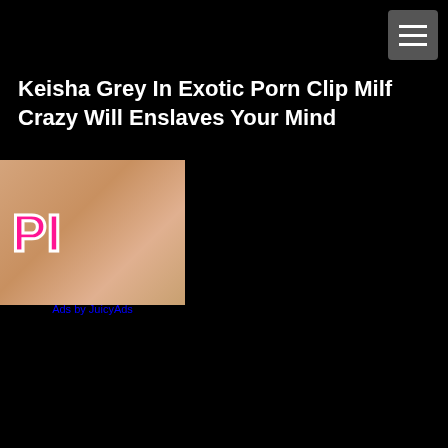[Figure (other): Hamburger menu button icon with three horizontal lines on a dark grey rounded square background, positioned top right]
Keisha Grey In Exotic Porn Clip Milf Crazy Will Enslaves Your Mind
[Figure (photo): Partial image with a pink/magenta bold letter PI logo overlay on a skin-toned background]
Ads by JuicyAds